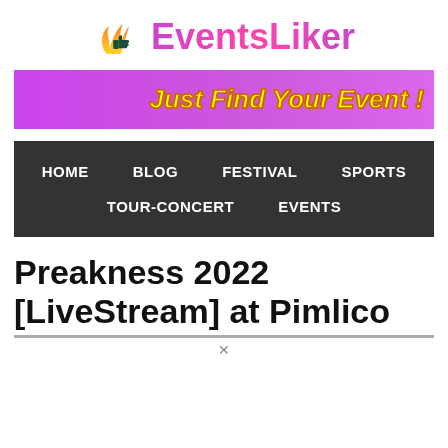[Figure (logo): EventsLiker logo with thumbs up icon and gradient pink/purple text]
[Figure (infographic): Purple gradient banner with yellow bold italic text 'Just Find Your Event !']
[Figure (infographic): Dark gray navigation bar with menu items: HOME, BLOG, FESTIVAL, SPORTS, TOUR-CONCERT, EVENTS]
Preakness 2022 [LiveStream] at Pimlico